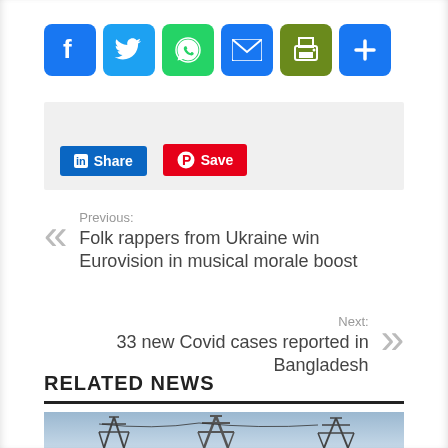[Figure (infographic): Social share buttons: Facebook (blue), Twitter (blue), WhatsApp (green), Email (blue), Print (olive), Plus/More (blue)]
[Figure (infographic): LinkedIn Share button and Pinterest Save button in a gray bar]
Previous: Folk rappers from Ukraine win Eurovision in musical morale boost
Next: 33 new Covid cases reported in Bangladesh
RELATED NEWS
[Figure (photo): Electrical transmission towers against a blue sky]